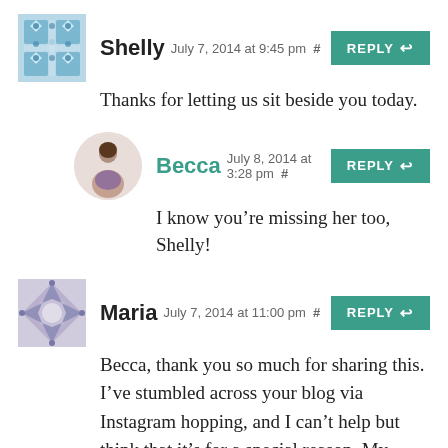Shelly July 7, 2014 at 9:45 pm # REPLY
Thanks for letting us sit beside you today.
Becca July 8, 2014 at 3:28 pm # REPLY
I know you’re missing her too, Shelly!
Maria July 7, 2014 at 11:00 pm # REPLY
Becca, thank you so much for sharing this. I’ve stumbled across your blog via Instagram hopping, and I can’t help but think that it’s for a special reason. My mom and I are currently on vacation in Sweden after losing my